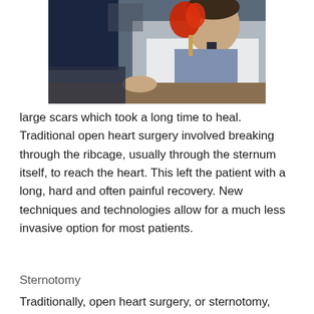[Figure (photo): A doctor in a white lab coat holding a red anatomical heart model, seated at a desk with medical imaging screens in the background.]
large scars which took a long time to heal. Traditional open heart surgery involved breaking through the ribcage, usually through the sternum itself, to reach the heart. This left the patient with a long, hard and often painful recovery. New techniques and technologies allow for a much less invasive option for most patients.
Sternotomy
Traditionally, open heart surgery, or sternotomy, meant entering the chest